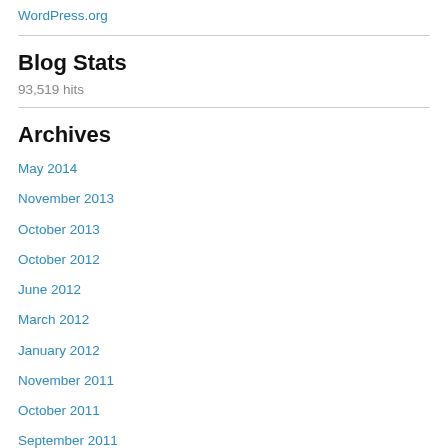WordPress.org
Blog Stats
93,519 hits
Archives
May 2014
November 2013
October 2013
October 2012
June 2012
March 2012
January 2012
November 2011
October 2011
September 2011
June 2011